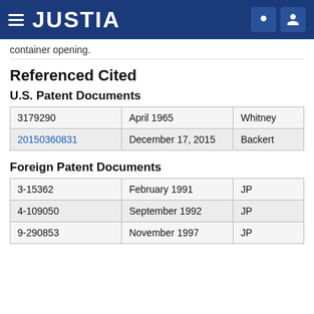JUSTIA
container opening.
Referenced Cited
U.S. Patent Documents
| Patent | Date | Inventor |
| --- | --- | --- |
| 3179290 | April 1965 | Whitney |
| 20150360831 | December 17, 2015 | Backert |
Foreign Patent Documents
| Patent | Date | Country |
| --- | --- | --- |
| 3-15362 | February 1991 | JP |
| 4-109050 | September 1992 | JP |
| 9-290853 | November 1997 | JP |